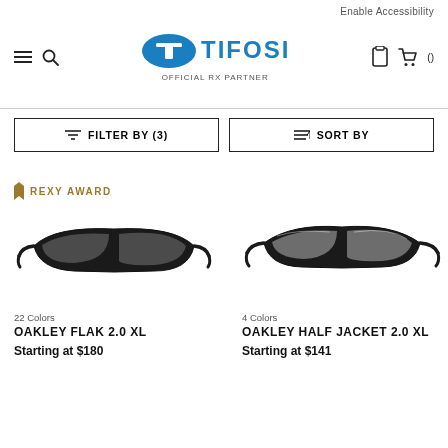Enable Accessibility
[Figure (logo): Tifosi logo with text OFFICIAL RX PARTNER]
FILTER BY (3)
SORT BY
REXY AWARD
[Figure (photo): Oakley Flak 2.0 XL sunglasses in black]
[Figure (photo): Oakley Half Jacket 2.0 XL sunglasses in black mirrored]
22 Colors
OAKLEY FLAK 2.0 XL
Starting at $180
4 Colors
OAKLEY HALF JACKET 2.0 XL
Starting at $141